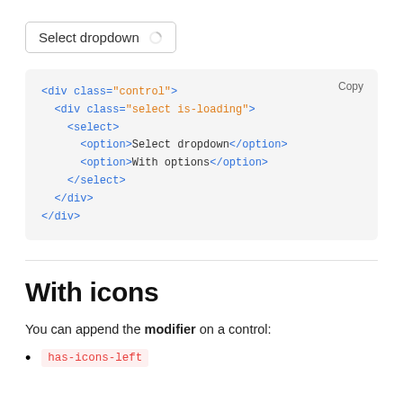[Figure (screenshot): A UI select dropdown element showing 'Select dropdown' text with a loading spinner icon, rendered with a light border and rounded corners.]
[Figure (screenshot): A code block on a gray background showing HTML markup for a control div containing a select element with is-loading class, with a 'Copy' button in the top-right corner.]
With icons
You can append the modifier on a control:
has-icons-left